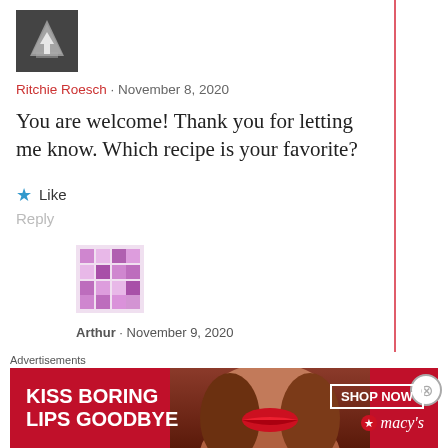[Figure (photo): User avatar for Ritchie Roesch - dark/grayscale image with upward arrow]
Ritchie Roesch · November 8, 2020
You are welcome! Thank you for letting me know. Which recipe is your favorite?
★ Like
Reply
[Figure (photo): User avatar for Arthur - geometric pixel/mosaic pattern in purple/pink]
Arthur · November 9, 2020
This is hard to choose, but I think I'll go with Classic Chrome. It has a really
Advertisements
[Figure (photo): Macy's advertisement banner: KISS BORING LIPS GOODBYE with woman's face and red lips, SHOP NOW button and Macy's star logo]